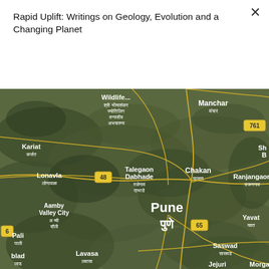Rapid Uplift: Writings on Geology, Evolution and a Changing Planet
Subscribe
[Figure (map): Satellite map showing the area around Pune, India, including locations: Wildlife (Sri Bhimashankar Jyotirlinga Wildlife Sanctuary), Manchar, 761 road marker, Kariat, Lonavla, 48 road marker, Talegaon Dabhade, Chakan, Ranjangaon, Aamby Valley City, Pune (पुणे), 65 road marker, Yavat, Pali, Lavasa, Saswad, Jejuri, Morgan. Map shows satellite imagery with yellow road lines and place name labels in English and Marathi.]